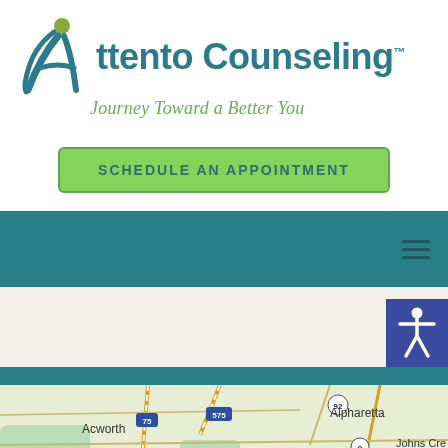[Figure (logo): Attento Counseling logo with stylized figure forming letter A, teal text reading 'Attento Counseling' with TM mark, and green italic tagline 'Journey Toward a Better You']
SCHEDULE AN APPOINTMENT
[Figure (screenshot): Teal navigation bar with hamburger menu icon on the right]
[Figure (screenshot): Light beige section with accessibility icon button (person figure) in dark blue square on the right edge, and teal bar below]
[Figure (map): Google Maps view showing Acworth, Kennesaw, Alpharetta, Roswell, Johns Creek area with highways 75, 575, 92, 9, 19, 140]